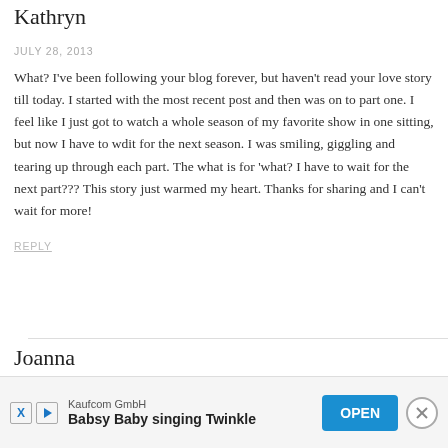Kathryn
JULY 28, 2013
What? I've been following your blog forever, but haven't read your love story till today. I started with the most recent post and then was on to part one. I feel like I just got to watch a whole season of my favorite show in one sitting, but now I have to wdit for the next season. I was smiling, giggling and tearing up through each part. The what is for 'what? I have to wait for the next part??? This story just warmed my heart. Thanks for sharing and I can't wait for more!
REPLY
Joanna
[Figure (other): Advertisement banner: Kaufcom GmbH - Babsy Baby singing Twinkle, with OPEN button and close button]